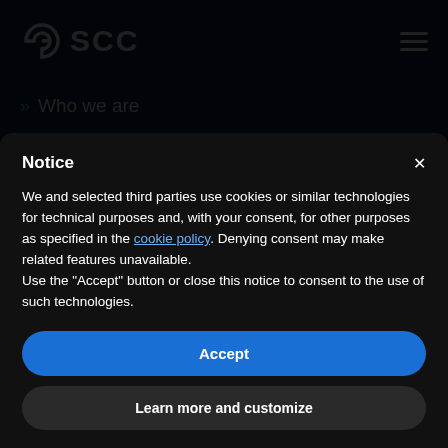SCC
» Who we are
» Job offers
Notice
We and selected third parties use cookies or similar technologies for technical purposes and, with your consent, for other purposes as specified in the cookie policy. Denying consent may make related features unavailable.
Use the "Accept" button or close this notice to consent to the use of such technologies.
Accept
Learn more and customize